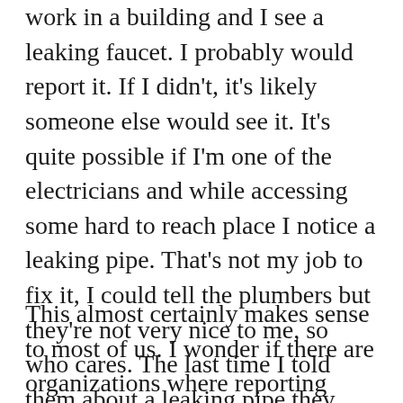work in a building and I see a leaking faucet. I probably would report it. If I didn't, it's likely someone else would see it. It's quite possible if I'm one of the electricians and while accessing some hard to reach place I notice a leaking pipe. That's not my job to fix it, I could tell the plumbers but they're not very nice to me, so who cares. The last time I told them about a leaking pipe they blamed me for breaking it, so I don't really have an incentive here. If I do nothing, it really won't affect me. If I tell someone, at best it doesn't affect me, but in reality I probably will get some level of blame or scrutiny.
This almost certainly makes sense to most of us. I wonder if there are organizations where reporting things like this comes with an incentive.